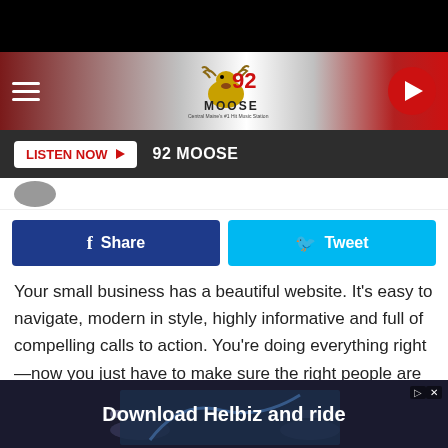[Figure (screenshot): Black top bar of mobile app]
92 MOOSE — Central Maine's #1 Hit Music Station
LISTEN NOW  92 MOOSE
Share  Tweet
Your small business has a beautiful website. It's easy to navigate, modern in style, highly informative and full of compelling calls to action. You're doing everything right—now you just have to make sure the right people are seeing it.
Driving traffic to your website is essential for effective online
[Figure (photo): Ad banner at bottom: Download Helbiz and ride — shows bicycle handlebars in background]